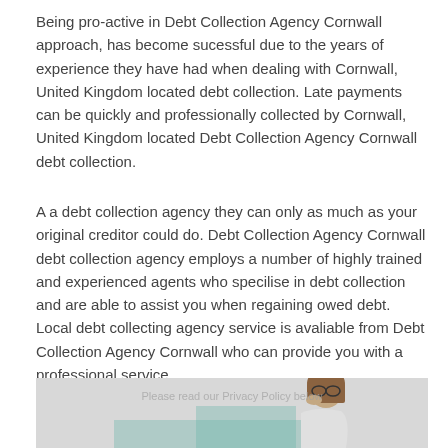Being pro-active in Debt Collection Agency Cornwall approach, has become sucessful due to the years of experience they have had when dealing with Cornwall, United Kingdom located debt collection. Late payments can be quickly and professionally collected by Cornwall, United Kingdom located Debt Collection Agency Cornwall debt collection.
A a debt collection agency they can only as much as your original creditor could do. Debt Collection Agency Cornwall debt collection agency employs a number of highly trained and experienced agents who specilise in debt collection and are able to assist you when regaining owed debt. Local debt collecting agency service is avaliable from Debt Collection Agency Cornwall who can provide you with a professional service.
[Figure (photo): A woman with glasses and brown hair leaning her head on her hand, appearing stressed or worried. Background has a light teal/green accent panel. Watermark text visible.]